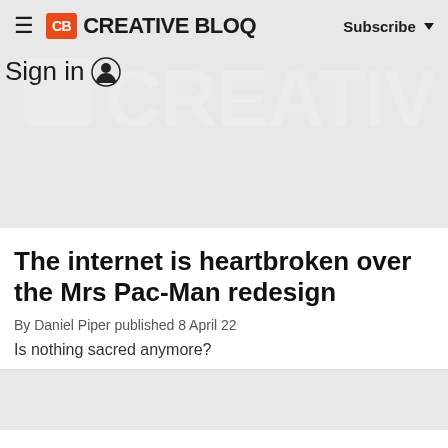CB CREATIVE BLOQ  Subscribe
[Figure (logo): Creative Bloq watermark logo in background]
Sign in
The internet is heartbroken over the Mrs Pac-Man redesign
By Daniel Piper published 8 April 22
Is nothing sacred anymore?